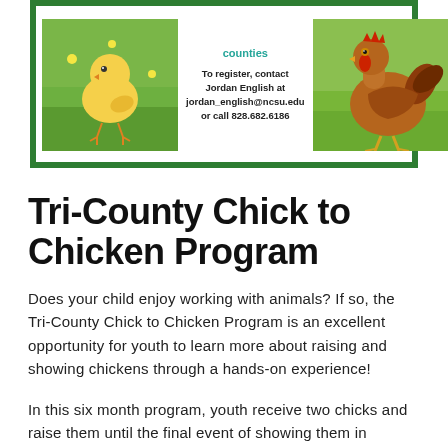[Figure (photo): A promotional flyer with a green border showing two photos: a baby chick on the left and a full-grown hen on the right, with contact information in the middle reading 'counties' in teal, and registration contact details for Jordan English at jordan_english@ncsu.edu or call 828.682.6186]
Tri-County Chick to Chicken Program
Does your child enjoy working with animals? If so, the Tri-County Chick to Chicken Program is an excellent opportunity for youth to learn more about raising and showing chickens through a hands-on experience!
In this six month program, youth receive two chicks and raise them until the final event of showing them in